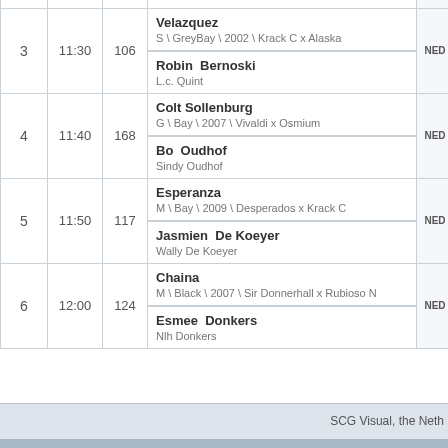| # | Time | No | Horse / Rider / Owner | Nat |
| --- | --- | --- | --- | --- |
| 3 | 11:30 | 106 | Velazquez
S \ GreyBay \ 2002 \ Krack C x Alaska
Robin Bernoski
L.c. Quint | NED |
| 4 | 11:40 | 168 | Colt Sollenburg
G \ Bay \ 2007 \ Vivaldi x Osmium
Bo Oudhof
Sindy Oudhof | NED |
| 5 | 11:50 | 117 | Esperanza
M \ Bay \ 2009 \ Desperados x Krack C
Jasmien De Koeyer
Wally De Koeyer | NED |
| 6 | 12:00 | 124 | Chaina
M \ Black \ 2007 \ Sir Donnerhall x Rubioso N
Esmee Donkers
Nlh Donkers | NED |
SCG Visual, the Neth